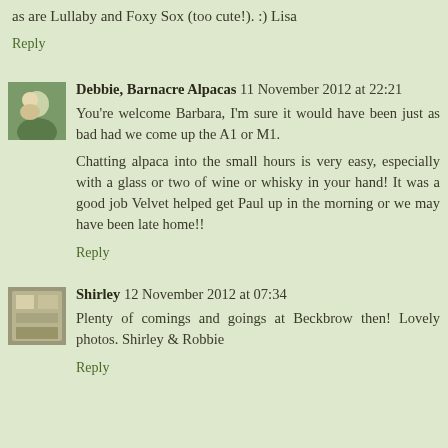too cute!). :) Lisa
Reply
Debbie, Barnacre Alpacas  11 November 2012 at 22:21
You're welcome Barbara, I'm sure it would have been just as bad had we come up the A1 or M1.

Chatting alpaca into the small hours is very easy, especially with a glass or two of wine or whisky in your hand! It was a good job Velvet helped get Paul up in the morning or we may have been late home!!
Reply
Shirley  12 November 2012 at 07:34
Plenty of comings and goings at Beckbrow then! Lovely photos. Shirley & Robbie
Reply